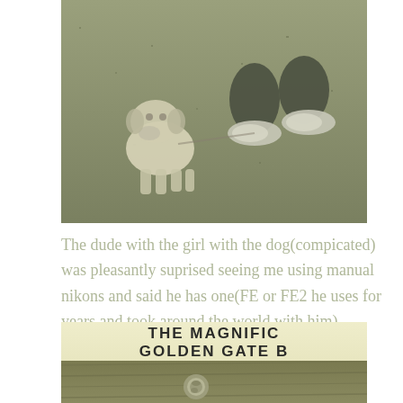[Figure (photo): Sepia-toned photo viewed from above showing a white dog (bulldog or similar breed) standing on pavement next to a person's legs wearing dark pants and sneakers.]
The dude with the girl with the dog(compicated) was pleasantly suprised seeing me using manual nikons and said he has one(FE or FE2 he uses for years and took around the world with him).
[Figure (photo): Sepia-toned photo of a wooden bench or sign with text reading 'THE MAGNIFIC GOLDEN GATE B' (partially cropped), with a metal bolt/fixture visible on the wood surface.]